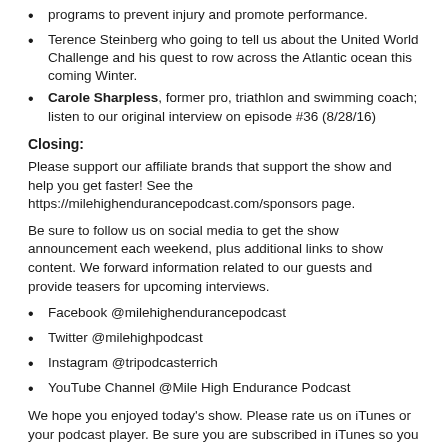programs to prevent injury and promote performance.
Terence Steinberg who going to tell us about the United World Challenge and his quest to row across the Atlantic ocean this coming Winter.
Carole Sharpless, former pro, triathlon and swimming coach; listen to our original interview on episode #36 (8/28/16)
Closing:
Please support our affiliate brands that support the show and help you get faster! See the https://milehighendurancepodcast.com/sponsors page.
Be sure to follow us on social media to get the show announcement each weekend, plus additional links to show content. We forward information related to our guests and provide teasers for upcoming interviews.
Facebook @milehighendurancepodcast
Twitter @milehighpodcast
Instagram @tripodcasterrich
YouTube Channel @Mile High Endurance Podcast
We hope you enjoyed today's show. Please rate us on iTunes or your podcast player. Be sure you are subscribed in iTunes so you get the show automatically downloaded on Saturday evening and recommend Mile High Endurance to a friend.
Stay tuned, train informed, and enjoy the endurance journey!